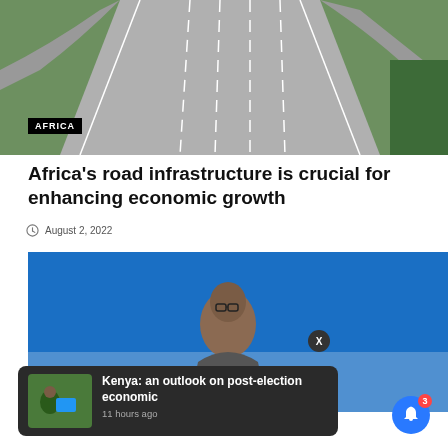[Figure (photo): Aerial view of a multi-lane highway interchange with green grass on either side]
AFRICA
Africa's road infrastructure is crucial for enhancing economic growth
August 2, 2022
[Figure (photo): Man speaking at an event in front of a blue background]
Kenya: an outlook on post-election economic
11 hours ago